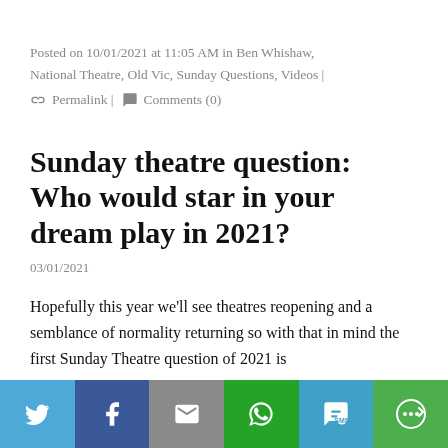Posted on 10/01/2021 at 11:05 AM in Ben Whishaw, National Theatre, Old Vic, Sunday Questions, Videos | 🔗 Permalink | 💬 Comments (0)
Sunday theatre question: Who would star in your dream play in 2021?
03/01/2021
Hopefully this year we'll see theatres reopening and a semblance of normality returning so with that in mind the first Sunday Theatre question of 2021 is